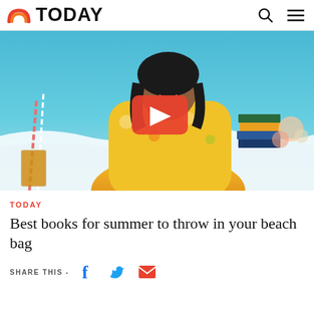TODAY
[Figure (photo): A smiling woman in a colorful floral yellow/orange dress seated in a chair on a TV set with a beach-themed backdrop, flowers and books visible. A red YouTube-style play button is overlaid on the center of the image.]
TODAY
Best books for summer to throw in your beach bag
SHARE THIS -